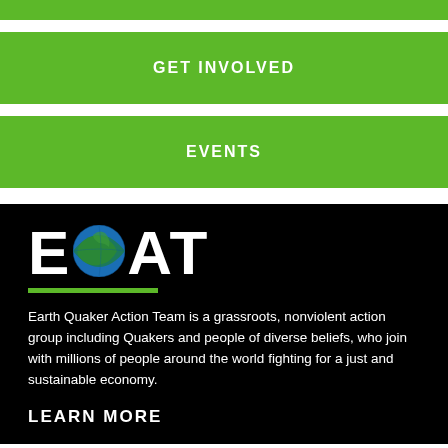GET INVOLVED
EVENTS
EQAT
Earth Quaker Action Team is a grassroots, nonviolent action group including Quakers and people of diverse beliefs, who join with millions of people around the world fighting for a just and sustainable economy.
LEARN MORE